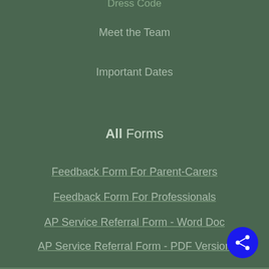Dress Code
Meet the Team
Important Dates
All Forms
Feedback Form For Parent-Carers
Feedback Form For Professionals
AP Service Referral Form - Word Doc
AP Service Referral Form - PDF Version
Home
About Us
[Figure (other): Share button icon — blue circle with share/network icon]